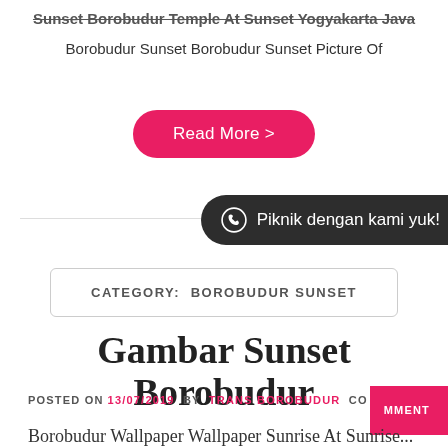Sunset Borobudur Temple At Sunset Yogyakarta Java Borobudur Sunset Borobudur Sunset Picture Of
[Figure (other): Pink 'Read More >' button with rounded pill shape]
[Figure (other): Dark pill-shaped WhatsApp widget bar with text 'Piknik dengan kami yuk!']
CATEGORY:   BOROBUDUR SUNSET
Gambar Sunset Borobudur
POSTED ON 13/07/2019  BY  TRANS BOROBUDUR  COMMENT
Borobudur Wallpaper Wallpaper Sunrise At Sunrise...